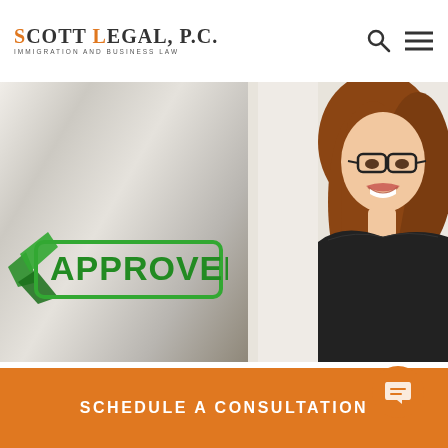SCOTT LEGAL, P.C. IMMIGRATION AND BUSINESS LAW
[Figure (photo): Hero image of a smiling woman with glasses and auburn hair wearing a black top, next to an 'APPROVED' green checkmark stamp graphic, background is a bright light interior]
SCHEDULE A CONSULTATION